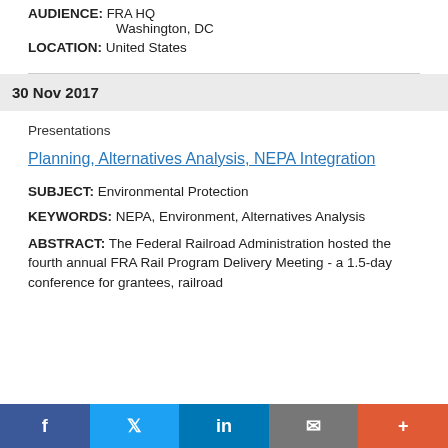AUDIENCE: FRA HQ
                Washington, DC
LOCATION: United States
30 Nov 2017
Presentations
Planning, Alternatives Analysis, NEPA Integration
SUBJECT: Environmental Protection
KEYWORDS: NEPA, Environment, Alternatives Analysis
ABSTRACT: The Federal Railroad Administration hosted the fourth annual FRA Rail Program Delivery Meeting - a 1.5-day conference for grantees, railroad